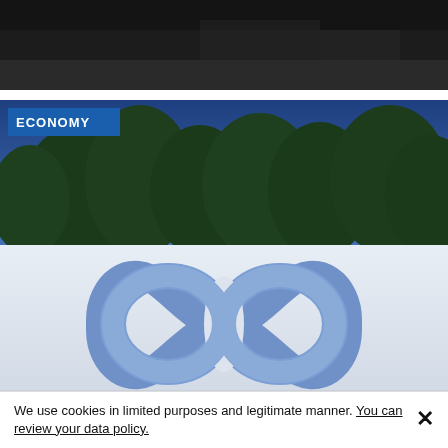[Figure (photo): Dark background at top of page, appears to be a cropped news website header image with dark/black tones]
[Figure (photo): Photo of a large white sign displaying the Meta infinity loop logo in blue, with trees and blue sky visible in the background. An 'ECONOMY' category badge appears in the top-left corner of the image.]
We use cookies in limited purposes and legitimate manner. You can review your data policy.